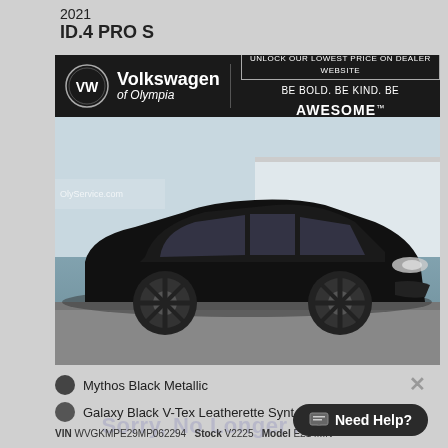2021
ID.4 PRO S
[Figure (photo): 2021 Volkswagen ID.4 PRO S in Mythos Black Metallic, shown at Volkswagen of Olympia dealership. The car is a black electric SUV/crossover photographed from front 3/4 angle in a parking lot. The dealership banner at top reads 'Volkswagen of Olympia' with slogan 'UNLOCK OUR LOWEST PRICE ON DEALER WEBSITE / BE BOLD. BE KIND. BE AWESOME.']
Mythos Black Metallic
Galaxy Black V-Tex Leatherette Synt...
Sorry, No Longer Available
VIN WVGKMPE29MP062294   Stock V2225   Model E214MN
Need Help?